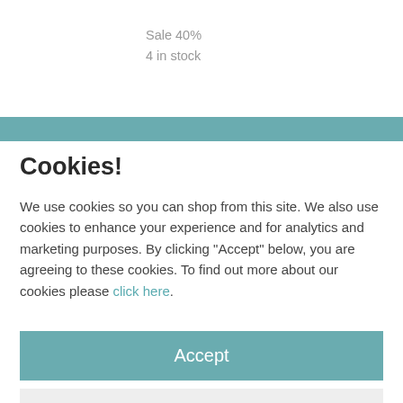Sale 40%
4 in stock
10 in stock
Cookies!
We use cookies so you can shop from this site. We also use cookies to enhance your experience and for analytics and marketing purposes. By clicking "Accept" below, you are agreeing to these cookies. To find out more about our cookies please click here.
Accept
Decline